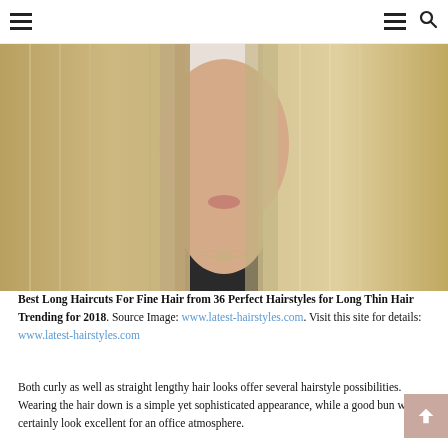Navigation header with hamburger menu and search icon
[Figure (photo): Woman with long straight blonde balayage hair, wearing a black top and a delicate necklace, face partially obscured by hair falling forward]
Best Long Haircuts For Fine Hair from 36 Perfect Hairstyles for Long Thin Hair Trending for 2018. Source Image: www.latest-hairstyles.com. Visit this site for details: www.latest-hairstyles.com
Both curly as well as straight lengthy hair looks offer several hairstyle possibilities. Wearing the hair down is a simple yet sophisticated appearance, while a good bun would certainly look excellent for an office atmosphere.